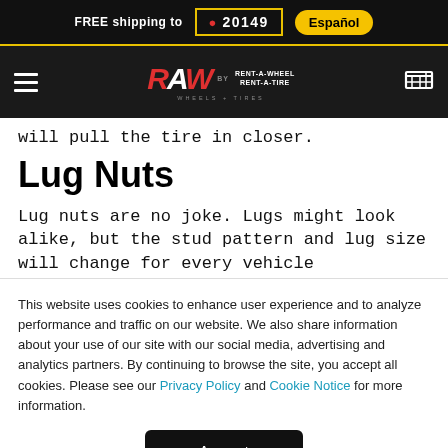FREE shipping to  20149  Español
[Figure (logo): RAW Wheels + Tires by Rent-A-Wheel Rent-A-Tire logo with hamburger menu and cart icon on dark navigation bar]
will pull the tire in closer.
Lug Nuts
Lug nuts are no joke. Lugs might look alike, but the stud pattern and lug size will change for every vehicle
This website uses cookies to enhance user experience and to analyze performance and traffic on our website. We also share information about your use of our site with our social media, advertising and analytics partners. By continuing to browse the site, you accept all cookies. Please see our Privacy Policy and Cookie Notice for more information.
Accept